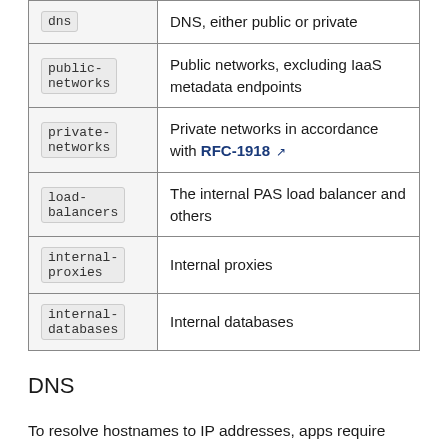|  |  |
| --- | --- |
| dns | DNS, either public or private |
| public-networks | Public networks, excluding IaaS metadata endpoints |
| private-networks | Private networks in accordance with RFC-1918 |
| load-balancers | The internal PAS load balancer and others |
| internal-proxies | Internal proxies |
| internal-databases | Internal databases |
DNS
To resolve hostnames to IP addresses, apps require DNS server connectivity, which typically use port 53. Admins should create or update a dns ASG with appropriate